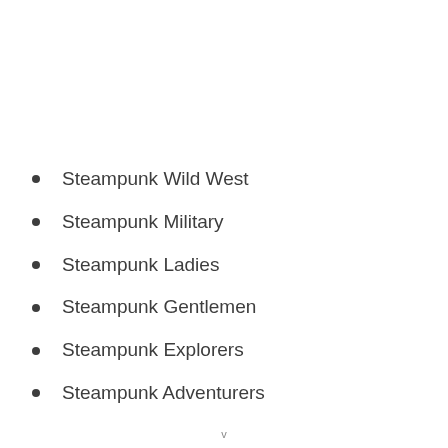Steampunk Wild West
Steampunk Military
Steampunk Ladies
Steampunk Gentlemen
Steampunk Explorers
Steampunk Adventurers